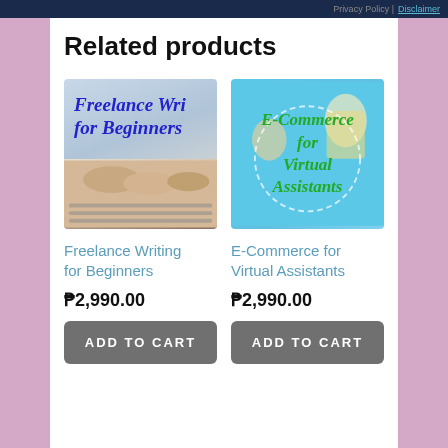Privacy Policy | Disclaimer
Related products
[Figure (illustration): Book cover image: 'Freelance Writing for Beginners' with blue italic text overlaid on a photo of hands typing on a keyboard]
[Figure (illustration): Book cover image: 'E-Commerce for Virtual Assistants' with green italic text on a light blue background with shopping bag graphics]
Freelance Writing for Beginners
₱2,990.00
ADD TO CART
E-Commerce for Virtual Assistants
₱2,990.00
ADD TO CART